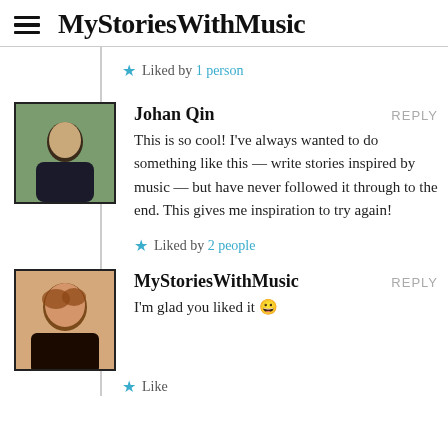MyStoriesWithMusic
Liked by 1 person
Johan Qin
REPLY
This is so cool! I've always wanted to do something like this — write stories inspired by music — but have never followed it through to the end. This gives me inspiration to try again!
Liked by 2 people
MyStoriesWithMusic
REPLY
I'm glad you liked it 😀
Like